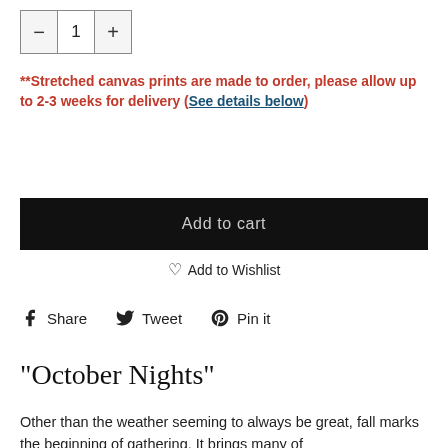- 1 +
**Stretched canvas prints are made to order, please allow up to 2-3 weeks for delivery (See details below)
Add to cart
♡ Add to Wishlist
Share   Tweet   Pin it
"October Nights"
Other than the weather seeming to always be great, fall marks the beginning of gathering. It brings many of